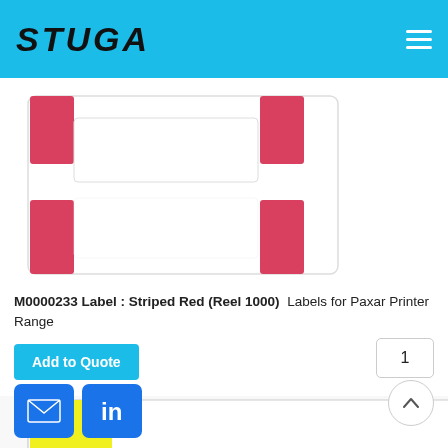STUGA
[Figure (photo): Product photo showing striped red labels on a reel — label sheets with red stripe tabs visible at top and bottom corners on a white background]
M0000233 Label : Striped Red (Reel 1000) Labels for Paxar Printer Range
Add to Quote
1
[Figure (photo): Product photo showing striped yellow labels on a reel — label sheets with yellow stripe tabs visible at left and right corners on a white background]
[Figure (logo): Email social icon button (blue square with envelope)]
[Figure (logo): LinkedIn social icon button (blue square with 'in' text)]